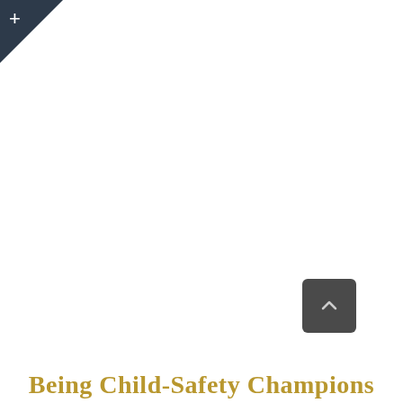[Figure (other): Dark navy triangle corner decoration with a white plus sign in the top-left corner of the page]
[Figure (other): Dark gray rounded rectangle back-to-top button with a white upward-pointing chevron arrow, positioned in the lower right area of the page]
Being Child-Safety Champions